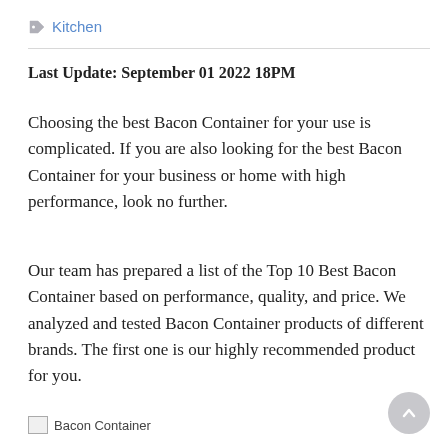Kitchen
Last Update: September 01 2022 18PM
Choosing the best Bacon Container for your use is complicated. If you are also looking for the best Bacon Container for your business or home with high performance, look no further.
Our team has prepared a list of the Top 10 Best Bacon Container based on performance, quality, and price. We analyzed and tested Bacon Container products of different brands. The first one is our highly recommended product for you.
[Figure (photo): Bacon Container placeholder image with alt text 'Bacon Container']